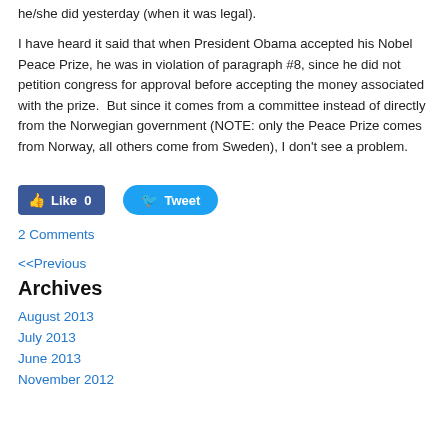he/she did yesterday (when it was legal).
I have heard it said that when President Obama accepted his Nobel Peace Prize, he was in violation of paragraph #8, since he did not petition congress for approval before accepting the money associated with the prize.  But since it comes from a committee instead of directly from the Norwegian government (NOTE: only the Peace Prize comes from Norway, all others come from Sweden), I don't see a problem.
[Figure (other): Social sharing buttons: Facebook Like (0) and Twitter Tweet]
2 Comments
<<Previous
Archives
August 2013
July 2013
June 2013
November 2012